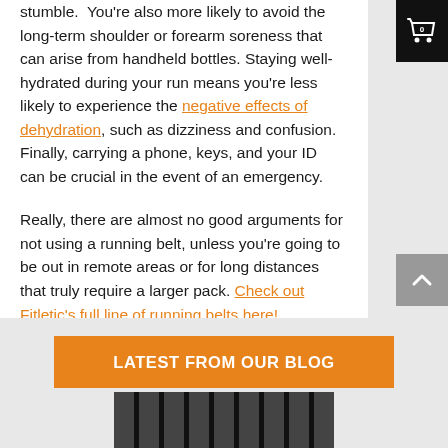stumble. You're also more likely to avoid the long-term shoulder or forearm soreness that can arise from handheld bottles. Staying well-hydrated during your run means you're less likely to experience the negative effects of dehydration, such as dizziness and confusion. Finally, carrying a phone, keys, and your ID can be crucial in the event of an emergency.
Really, there are almost no good arguments for not using a running belt, unless you're going to be out in remote areas or for long distances that truly require a larger pack. Check out Fitletic's full line of running belts here!
LATEST FROM OUR BLOG